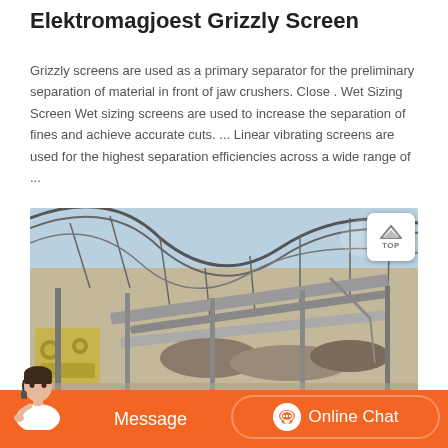Elektromagjoest Grizzly Screen
Grizzly screens are used as a primary separator for the preliminary separation of material in front of jaw crushers. Close . Wet Sizing Screen Wet sizing screens are used to increase the separation of fines and achieve accurate cuts. ... Linear vibrating screens are used for the highest separation efficiencies across a wide range of ...
[Figure (photo): Aerial/interior view of an industrial mining or quarrying facility showing conveyor systems, jaw crusher equipment, large steel roof structure, and stone/rock material being processed.]
Message   Online Chat